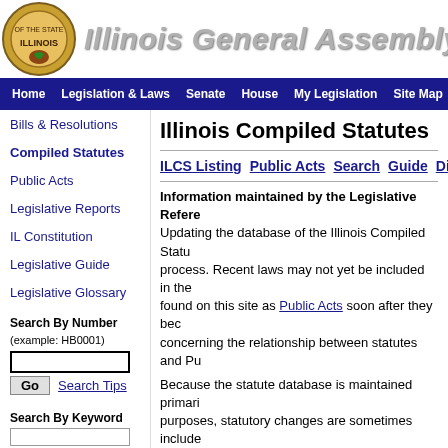Illinois General Assembly
Home  Legislation & Laws  Senate  House  My Legislation  Site Map
Bills & Resolutions
Compiled Statutes
Public Acts
Legislative Reports
IL Constitution
Legislative Guide
Legislative Glossary
Search By Number (example: HB0001)
Search By Keyword
Illinois Compiled Statutes
ILCS Listing  Public Acts  Search  Guide  Dis
Information maintained by the Legislative Refe
Updating the database of the Illinois Compiled Statu
process. Recent laws may not yet be included in the
found on this site as Public Acts soon after they bec
concerning the relationship between statutes and Pu
Because the statute database is maintained primari
purposes, statutory changes are sometimes include
they take effect. If the source note at the end of a Se
Public Act that has not yet taken effect, the version d
effect may have already been removed from the da
that Public Act to see the changes made to the curre
(820 ILCS 112/30)
    Sec. 30. Violations; fines and pena
    (a) If an employee is paid by his
the wage to which he or she is entitle
10 or 11 of this Act, the employee may
the entire amount of any underpayment